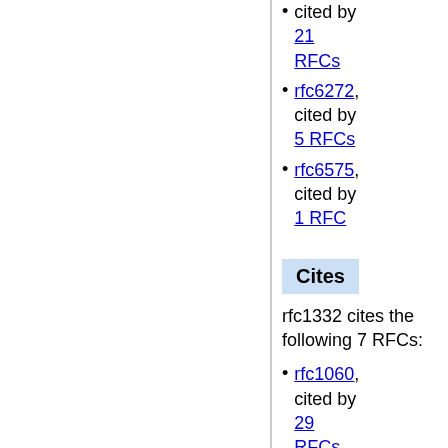cited by 21 RFCs
rfc6272, cited by 5 RFCs
rfc6575, cited by 1 RFC
Cites
rfc1332 cites the following 7 RFCs:
rfc1060, cited by 29 RFCs
rfc1144, cited by 51 RFCs
rfc1172, cited by 6 RFCs